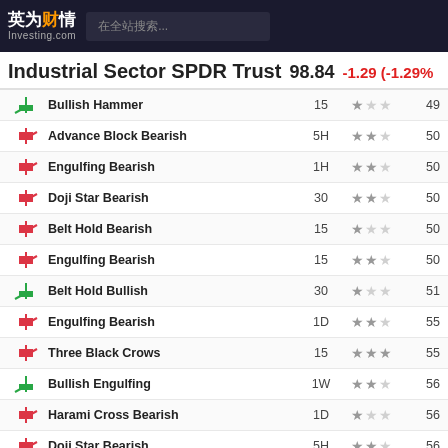英为财情 Investing.com — 在全站搜索...
Industrial Sector SPDR Trust  98.84  -1.29 (-1.29%)
| Icon | Pattern | Timeframe | Stars | Score |
| --- | --- | --- | --- | --- |
| ↗ bullish | Bullish Hammer | 15 | ★☆☆ | 49 |
| ↘ bearish | Advance Block Bearish | 5H | ★★☆ | 50 |
| ↘ bearish | Engulfing Bearish | 1H | ★★☆ | 50 |
| ↘ bearish | Doji Star Bearish | 30 | ★★☆ | 50 |
| ↘ bearish | Belt Hold Bearish | 15 | ★☆☆ | 50 |
| ↘ bearish | Engulfing Bearish | 15 | ★★☆ | 50 |
| ↗ bullish | Belt Hold Bullish | 30 | ★☆☆ | 51 |
| ↘ bearish | Engulfing Bearish | 1D | ★★☆ | 55 |
| ↘ bearish | Three Black Crows | 15 | ★★★ | 55 |
| ↗ bullish | Bullish Engulfing | 1W | ★★☆ | 56 |
| ↘ bearish | Harami Cross Bearish | 1D | ★☆☆ | 56 |
| ↘ bearish | Doji Star Bearish | 5H | ★★☆ | 56 |
| ↗ bullish | Bullish Hammer | 1H | ★☆☆ | 56 |
| ↗ bullish | Bullish E... |  |  |  |
| ↗ bullish | Inverted... |  |  |  |
XLI评论